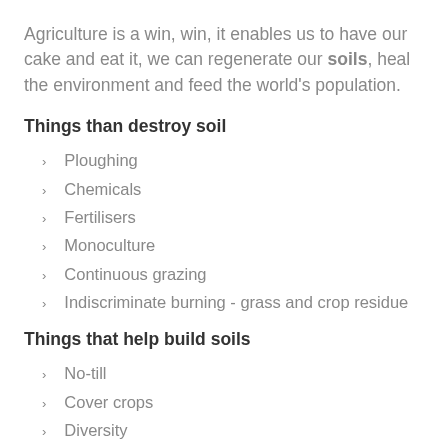Agriculture is a win, win, it enables us to have our cake and eat it, we can regenerate our soils, heal the environment and feed the world's population.
Things than destroy soil
Ploughing
Chemicals
Fertilisers
Monoculture
Continuous grazing
Indiscriminate burning - grass and crop residue
Things that help build soils
No-till
Cover crops
Diversity